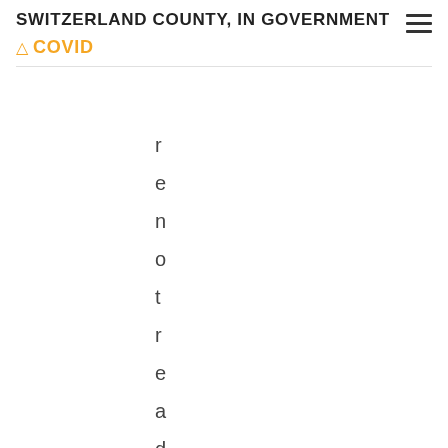SWITZERLAND COUNTY, IN GOVERNMENT
⚠ COVID
r e n o t r e a d i l y a v